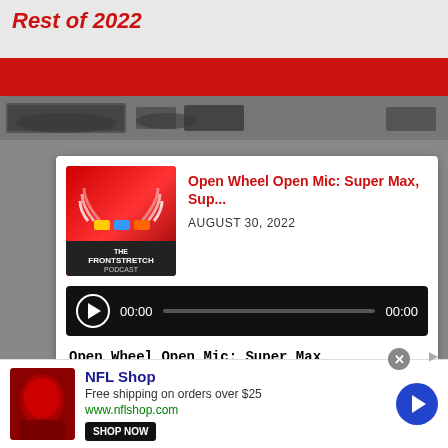Rest of 2022
[Figure (screenshot): Red banner with photo strip showing racing cars]
[Figure (screenshot): Podcast thumbnail image for The Frontstretch Podcast]
Open Wheel Open Mic: Super Max, Sup...
AUGUST 30, 2022
[Figure (screenshot): Audio player bar with play button, 00:00 start time, progress bar, 00:00 end time]
| Episode | Duration |
| --- | --- |
| Open Wheel Open Mic: Super Max, Su... | 43:12 |
| Stock Car Scoop: How Can NASCAR Better ... | 15:00 |
| Stock Car Scoop: Will Chaotic Daytona Cau... | 16:13 |
| Podcast: Colby Howard on Carson Hocevar ... | 36:53 |
| Open Wheel Open Mic: Malukas-Mania! — A... |  |
[Figure (screenshot): NFL Shop advertisement with shop now button and arrow button]